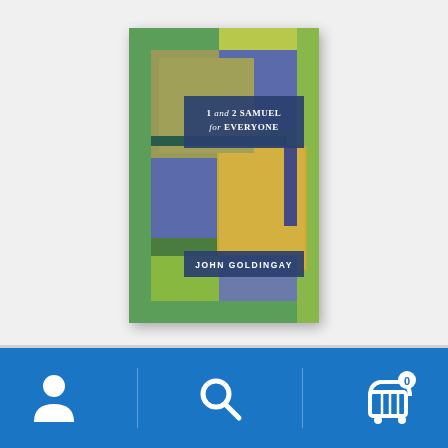[Figure (illustration): Book cover of '1 and 2 Samuel for Everyone' by John Goldingay. The cover features a geometric abstract design with overlapping rectangles in blue, green, olive/tan, and gold colors. A dark navy blue banner across the upper portion displays the title '1 and 2 SAMUEL for EVERYONE' in white text. A smaller navy blue banner near the bottom displays the author name 'JOHN GOLDINGAY' in white text.]
[Figure (infographic): Mobile app bottom navigation bar with blue background. Three icon buttons: a person/account icon on the left, a search magnifying glass icon in the center, and a shopping cart icon with '0' badge on the right. Vertical dividers separate the three sections.]